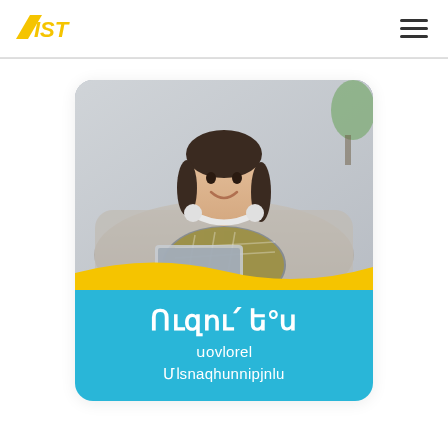AIST
[Figure (photo): A young woman smiling, wearing headphones around her neck and a plaid shirt over a yellow top, sitting on a couch with a laptop. Below the photo is a yellow wave transition and a blue section with Armenian text reading 'Ուզում է°ս սovlorel Մасnaqhunnipjnlu' (Want to learn a profession).]